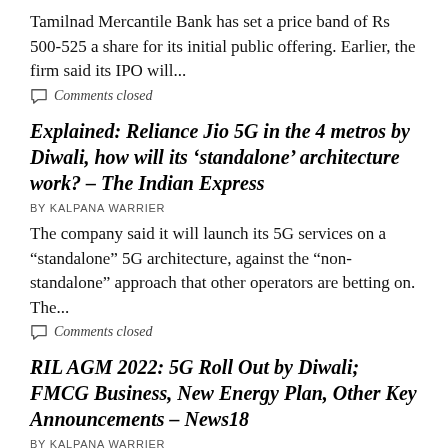Tamilnad Mercantile Bank has set a price band of Rs 500-525 a share for its initial public offering. Earlier, the firm said its IPO will...
Comments closed
Explained: Reliance Jio 5G in the 4 metros by Diwali, how will its ‘standalone’ architecture work? – The Indian Express
BY KALPANA WARRIER
The company said it will launch its 5G services on a “standalone” 5G architecture, against the “non-standalone” approach that other operators are betting on. The...
Comments closed
RIL AGM 2022: 5G Roll Out by Diwali; FMCG Business, New Energy Plan, Other Key Announcements – News18
BY KALPANA WARRIER
RIL AGM 2022: Reliance Industries Chairman Mukesh...